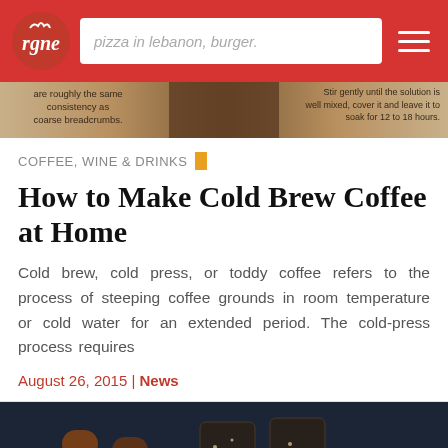pizza in lebanon, burger.
[Figure (photo): Partial view of a recipe page showing text about breadcrumbs and soaking solution]
COFFEE, WINE & DRINKS
How to Make Cold Brew Coffee at Home
Cold brew, cold press, or toddy coffee refers to the process of steeping coffee grounds in room temperature or cold water for an extended period. The cold-press process requires
August 26, 2015 | News
[Figure (photo): Ice cream cones and chocolate-covered popsicles on a dark background]